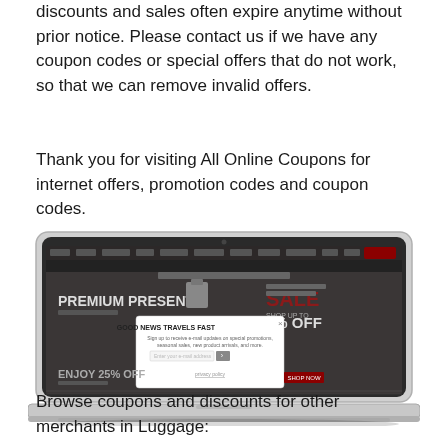discounts and sales often expire anytime without prior notice. Please contact us if we have any coupon codes or special offers that do not work, so that we can remove invalid offers.
Thank you for visiting All Online Coupons for internet offers, promotion codes and coupon codes.
[Figure (screenshot): A laptop computer displaying a website with a dark background. The website shows 'PREMIUM PRESENTS' with a briefcase image, a 'SALE' banner with '0% OFF', and a popup modal reading 'GOOD NEWS TRAVELS FAST' with an email signup field and subscribe button. Below is 'ENJOY 25% OFF' text.]
Browse coupons and discounts for other merchants in Luggage: